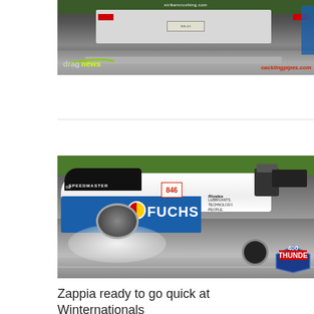[Figure (photo): Drag racing truck/car viewed from behind on a track, with 'strikercrushing.com' text visible, 'dragnews' logo bottom left and 'cacklingpipes.com' bottom right]
[Figure (photo): Blue and white FUCHS-sponsored funny car doing a burnout on a drag strip, with SPEEDMASTER branding, number 846, and 400 THUNDER event logo in bottom right corner]
Zappia ready to go quick at Winternationals